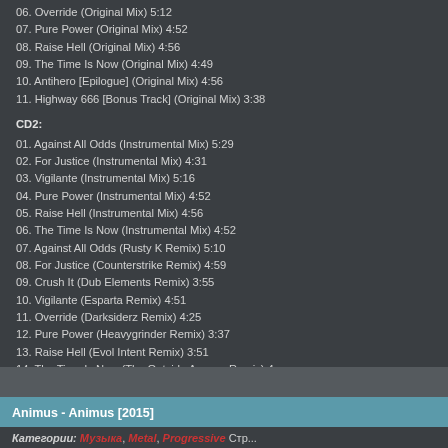06. Override (Original Mix) 5:12
07. Pure Power (Original Mix) 4:52
08. Raise Hell (Original Mix) 4:56
09. The Time Is Now (Original Mix) 4:49
10. Antihero [Epilogue] (Original Mix) 4:56
11. Highway 666 [Bonus Track] (Original Mix) 3:38
CD2:
01. Against All Odds (Instrumental Mix) 5:29
02. For Justice (Instrumental Mix) 4:31
03. Vigilante (Instrumental Mix) 5:16
04. Pure Power (Instrumental Mix) 4:52
05. Raise Hell (Instrumental Mix) 4:56
06. The Time Is Now (Instrumental Mix) 4:52
07. Against All Odds (Rusty K Remix) 5:10
08. For Justice (Counterstrike Remix) 4:59
09. Crush It (Dub Elements Remix) 3:55
10. Vigilante (Esparta Remix) 4:51
11. Override (Darksiderz Remix) 4:25
12. Pure Power (Heavygrinder Remix) 3:37
13. Raise Hell (Evol Intent Remix) 3:51
14. The Time Is Now (The Outside Agency Remix) 4:
15. Antihero (Voicians Remix) 5:16
Качество: mp3 cbr 320 kbps
Размер: 280 mb
Автор: junkome, Просмотров: , Добавили:
Скачать / посмотреть Zardonic - Antihero (2...
Animus - Animus [2015]
Категории: Музыка, Metal, Progressive Стр...